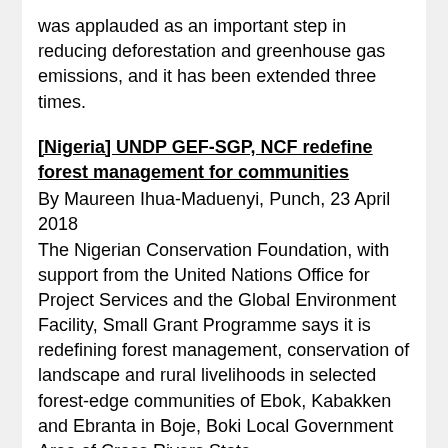was applauded as an important step in reducing deforestation and greenhouse gas emissions, and it has been extended three times.
[Nigeria] UNDP GEF-SGP, NCF redefine forest management for communities
By Maureen Ihua-Maduenyi, Punch, 23 April 2018
The Nigerian Conservation Foundation, with support from the United Nations Office for Project Services and the Global Environment Facility, Small Grant Programme says it is redefining forest management, conservation of landscape and rural livelihoods in selected forest-edge communities of Ebok, Kabakken and Ebranta in Boje, Boki Local Government Area of Cross Rivers State.
[Peru] The Rainforest's Comeback
By Claudia Coronado, WWF, 23 April 2018
In the last two decades, the department of Madre de Dios, located in the Peruvian Amazon, has increasingly struggled with illegal and informal gold mining.
As a consequence, the area known as La Pampa, located in the buffer zone of the Tambopata National Reserve, has been invaded by thousands of so-called artisanal gold